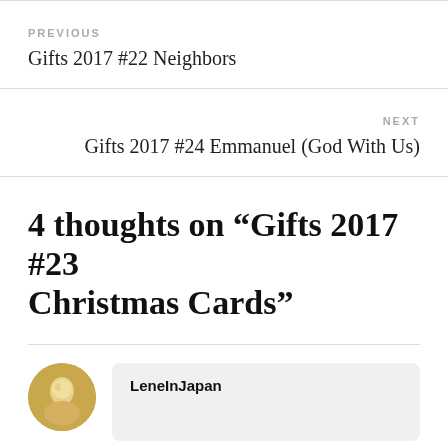PREVIOUS
Gifts 2017 #22 Neighbors
NEXT
Gifts 2017 #24 Emmanuel (God With Us)
4 thoughts on “Gifts 2017 #23 Christmas Cards”
LeneInJapan